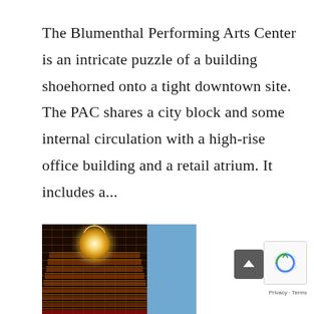The Blumenthal Performing Arts Center is an intricate puzzle of a building shoehorned onto a tight downtown site. The PAC shares a city block and some internal circulation with a high-rise office building and a retail atrium. It includes a...
[Figure (photo): Interior view of a performing arts theater auditorium showing tiered seating rows, ornate golden details, a central chandelier/ceiling medallion at the top, and a blue panel on the right side.]